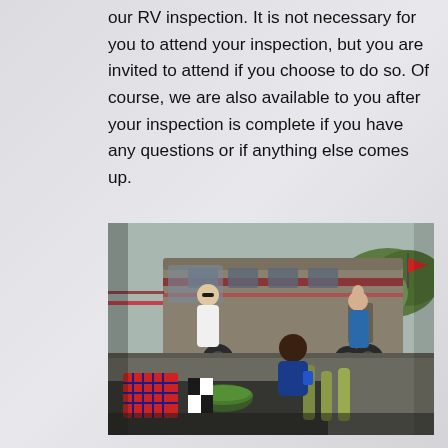our RV inspection. It is not necessary for you to attend your inspection, but you are invited to attend if you choose to do so. Of course, we are also available to you after your inspection is complete if you have any questions or if anything else comes up.
[Figure (photo): Outdoor scene with a large RV motorhome in the background. People are gathered around a table with food, drinks, and a salad bowl in the foreground. A man in a white shirt stands near the RV, and a woman in blue stands beside it. A person in a blue shirt sits at the table laughing.]